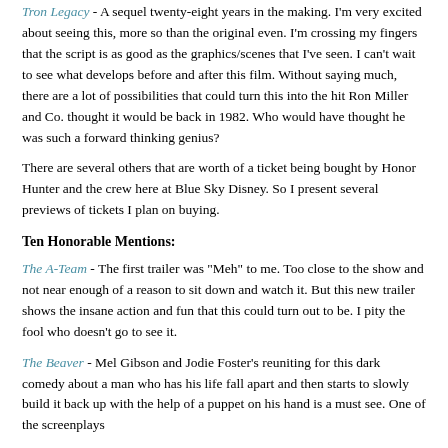Tron Legacy - A sequel twenty-eight years in the making. I'm very excited about seeing this, more so than the original even. I'm crossing my fingers that the script is as good as the graphics/scenes that I've seen. I can't wait to see what develops before and after this film. Without saying much, there are a lot of possibilities that could turn this into the hit Ron Miller and Co. thought it would be back in 1982. Who would have thought he was such a forward thinking genius?
There are several others that are worth of a ticket being bought by Honor Hunter and the crew here at Blue Sky Disney. So I present several previews of tickets I plan on buying.
Ten Honorable Mentions:
The A-Team - The first trailer was "Meh" to me. Too close to the show and not near enough of a reason to sit down and watch it. But this new trailer shows the insane action and fun that this could turn out to be. I pity the fool who doesn't go to see it.
The Beaver - Mel Gibson and Jodie Foster's reuniting for this dark comedy about a man who has his life fall apart and then starts to slowly build it back up with the help of a puppet on his hand is a must see. One of the screenplays